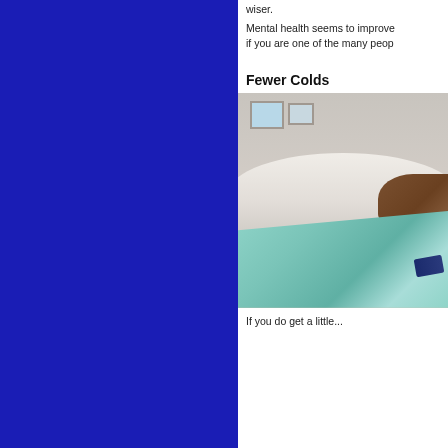wiser.
Mental health seems to improve if you are one of the many peop...
Fewer Colds
[Figure (photo): Person lying on a sofa wrapped in a teal/mint blanket, appearing to be sick or resting, holding a dark book or tablet, with decorative picture frames visible in the background.]
If you do get a little...